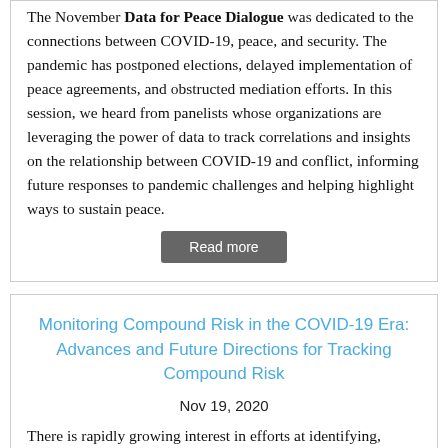The November Data for Peace Dialogue was dedicated to the connections between COVID-19, peace, and security. The pandemic has postponed elections, delayed implementation of peace agreements, and obstructed mediation efforts. In this session, we heard from panelists whose organizations are leveraging the power of data to track correlations and insights on the relationship between COVID-19 and conflict, informing future responses to pandemic challenges and helping highlight ways to sustain peace.
Read more
Monitoring Compound Risk in the COVID-19 Era: Advances and Future Directions for Tracking Compound Risk
Nov 19, 2020
There is rapidly growing interest in efforts at identifying, monitoring, and anticipating multiple interacting risks, as